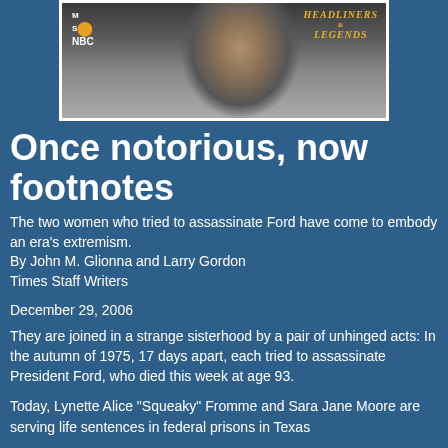[Figure (photo): Black and white photograph of a woman's face with MSNBC logo in upper left and Headliners & Legends logo in upper right]
Once notorious, now footnotes
The two women who tried to assassinate Ford have come to embody an era's extremism.
By John M. Glionna and Larry Gordon
Times Staff Writers
December 29, 2006
They are joined in a strange sisterhood by a pair of unhinged acts: In the autumn of 1975, 17 days apart, each tried to assassinate President Ford, who died this week at age 93.
Today, Lynette Alice "Squeaky" Fromme and Sara Jane Moore are serving life sentences in federal prisons in Texas